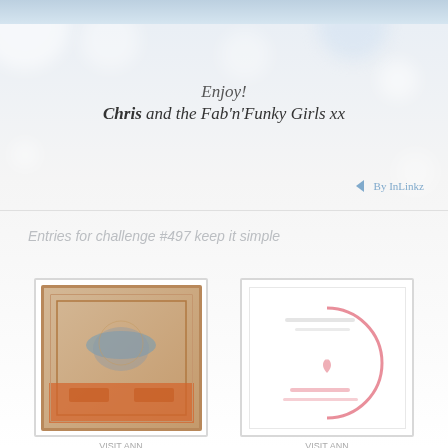Enjoy!
Chris and the Fab'n'Funky Girls xx
By InLinkz
Entries for challenge #497 keep it simple
[Figure (photo): Craft card thumbnail with tan/orange background, decorative border, and illustrated motif]
VISIT ANN
1. Annete Stapylton
[Figure (photo): White card with pink circle design and text]
VISIT ANN
2. Speedy Beautygenyme